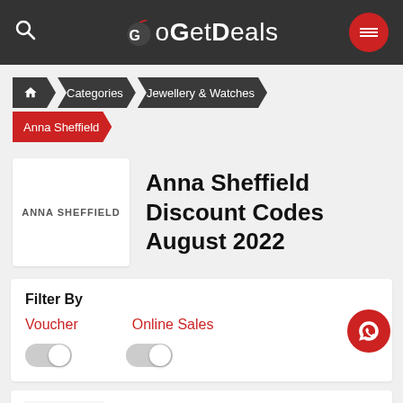GoGetDeals
Home > Categories > Jewellery & Watches > Anna Sheffield
Anna Sheffield Discount Codes August 2022
Filter By
Voucher | Online Sales
BEA THREE STONE RING 14k Gold &